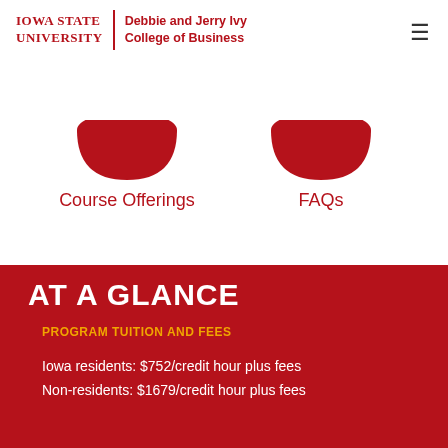Iowa State University | Debbie and Jerry Ivy College of Business
[Figure (illustration): Two red bowl/semicircle icons representing navigation items]
Course Offerings
FAQs
AT A GLANCE
PROGRAM TUITION AND FEES
Iowa residents: $752/credit hour plus fees
Non-residents: $1679/credit hour plus fees